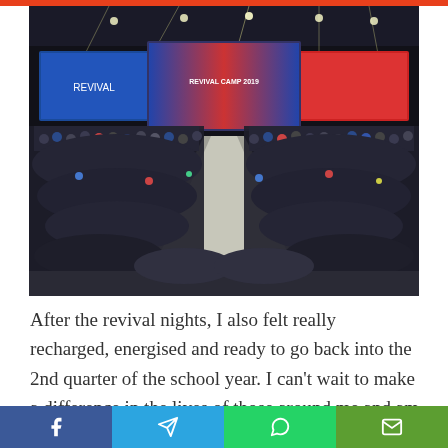[Figure (photo): Large group photo of students/youth at Revival Camp 2019 inside a venue with large LED screens showing 'REVIVAL CAMP 2019' branding. Hundreds of young people gathered together in a dark hall with stage lighting.]
After the revival nights, I also felt really recharged, energised and ready to go back into the 2nd quarter of the school year. I can't wait to make a difference in the lives of those around me and am challenged to grow
Facebook | Telegram | WhatsApp | Email